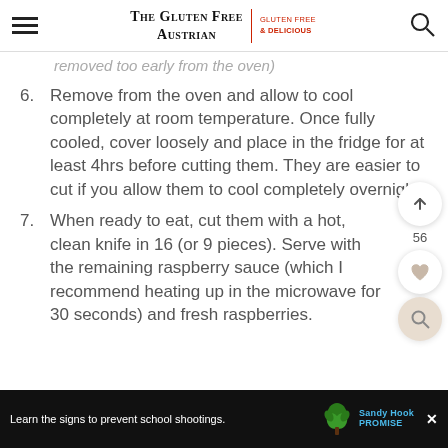The Gluten Free Austrian | Gluten Free & Delicious
removed too early from the oven)
6. Remove from the oven and allow to cool completely at room temperature. Once fully cooled, cover loosely and place in the fridge for at least 4hrs before cutting them. They are easier to cut if you allow them to cool completely overnight.
7. When ready to eat, cut them with a hot, clean knife in 16 (or 9 pieces). Serve with the remaining raspberry sauce (which I recommend heating up in the microwave for 30 seconds) and fresh raspberries.
Learn the signs to prevent school shootings. Sandy Hook Promise